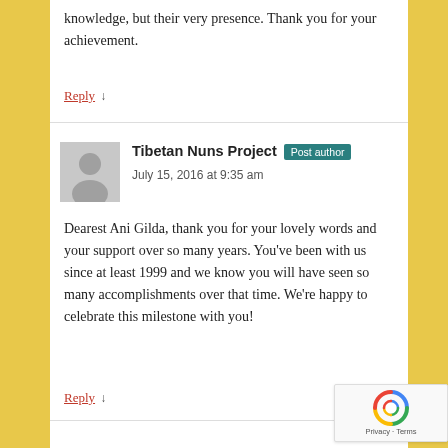knowledge, but their very presence. Thank you for your achievement.
Reply ↓
Tibetan Nuns Project Post author
July 15, 2016 at 9:35 am
Dearest Ani Gilda, thank you for your lovely words and your support over so many years. You've been with us since at least 1999 and we know you will have seen so many accomplishments over that time. We're happy to celebrate this milestone with you!
Reply ↓